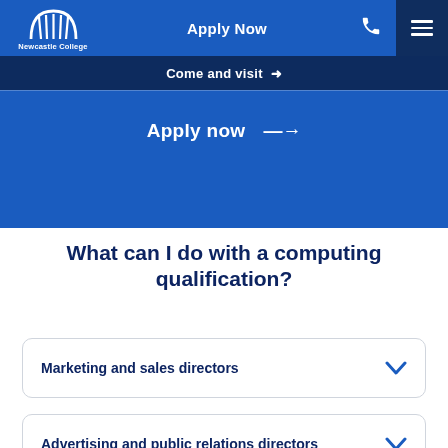Newcastle College – Apply Now
Come and visit →
Apply now →
What can I do with a computing qualification?
Marketing and sales directors
Advertising and public relations directors